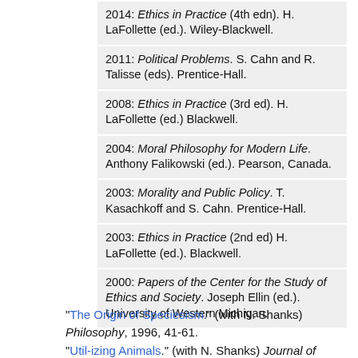2014: Ethics in Practice (4th edn). H. LaFollette (ed.). Wiley-Blackwell.
2011: Political Problems. S. Cahn and R. Talisse (eds). Prentice-Hall.
2008: Ethics in Practice (3rd ed). H. LaFollette (ed.) Blackwell.
2004: Moral Philosophy for Modern Life. Anthony Falikowski (ed.). Pearson, Canada.
2003: Morality and Public Policy. T. Kasachkoff and S. Cahn. Prentice-Hall.
2003: Ethics in Practice (2nd ed) H. LaFollette (ed.). Blackwell.
2000: Papers of the Center for the Study of Ethics and Society. Joseph Ellin (ed.). University of Western Michigan.
“The Origin of Speciesism.” (with N. Shanks) Philosophy, 1996, 41-61.
“Util-izing Animals.” (with N. Shanks) Journal of